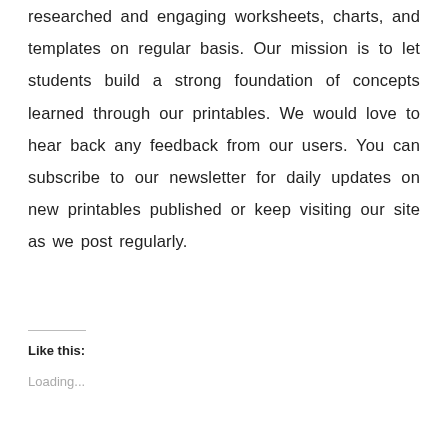researched and engaging worksheets, charts, and templates on regular basis. Our mission is to let students build a strong foundation of concepts learned through our printables. We would love to hear back any feedback from our users. You can subscribe to our newsletter for daily updates on new printables published or keep visiting our site as we post regularly.
Like this:
Loading...